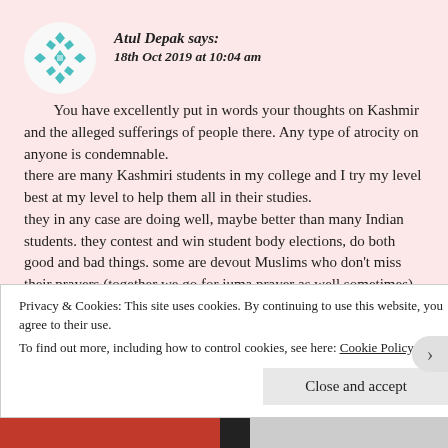[Figure (illustration): Teal/turquoise decorative avatar icon with geometric snowflake/flower pattern]
Atul Depak says:
18th Oct 2019 at 10:04 am
You have excellently put in words your thoughts on Kashmir and the alleged sufferings of people there. Any type of atrocity on anyone is condemnable.
there are many Kashmiri students in my college and I try my level best at my level to help them all in their studies.
they in any case are doing well, maybe better than many Indian students. they contest and win student body elections, do both good and bad things. some are devout Muslims who don't miss their prayers (together we go for juma prayer as well sometimes) while others indulge in all sorts of unIslamic, abominable behaviour and sometimes even engage in brutal fights with filthiest of abuses.
Privacy & Cookies: This site uses cookies. By continuing to use this website, you agree to their use.
To find out more, including how to control cookies, see here: Cookie Policy
Close and accept